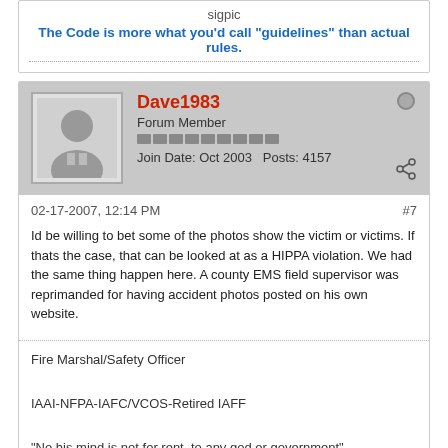sigpic
The Code is more what you'd call "guidelines" than actual rules.
Dave1983
Forum Member
Join Date: Oct 2003   Posts: 4157
02-17-2007, 12:14 PM
#7
Id be willing to bet some of the photos show the victim or victims. If thats the case, that can be looked at as a HIPPA violation. We had the same thing happen here. A county EMS field supervisor was reprimanded for having accident photos posted on his own website.
Fire Marshal/Safety Officer
IAAI-NFPA-IAFC/VCOS-Retired IAFF
"No his mind is not for rent, to any god or government"
RUSH-Tom Sawyer
Success is when skill meets opportunity
Failure is when fantasy meets reality